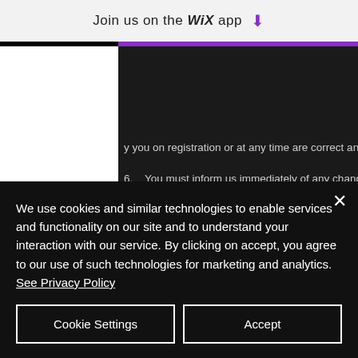Join us on the WiX app ⬇
y you on registration or at any time are correct and complete.
6.    You must inform us immediately of any changes to the information that you provide when registering by updating your personal details to ensure we can communicate with you effectively.
7.    We may suspend or cancel your registration with
We use cookies and similar technologies to enable services and functionality on our site and to understand your interaction with our service. By clicking on accept, you agree to our use of such technologies for marketing and analytics. See Privacy Policy
Cookie Settings
Accept